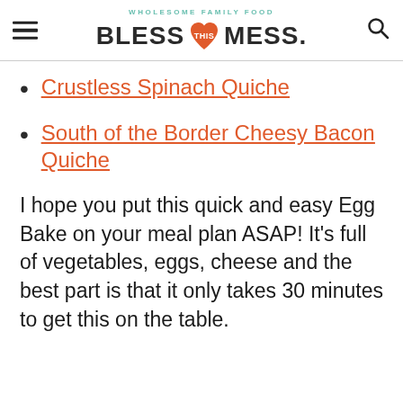WHOLESOME FAMILY FOOD | BLESS THIS MESS.
Crustless Spinach Quiche
South of the Border Cheesy Bacon Quiche
I hope you put this quick and easy Egg Bake on your meal plan ASAP! It's full of vegetables, eggs, cheese and the best part is that it only takes 30 minutes to get this on the table.